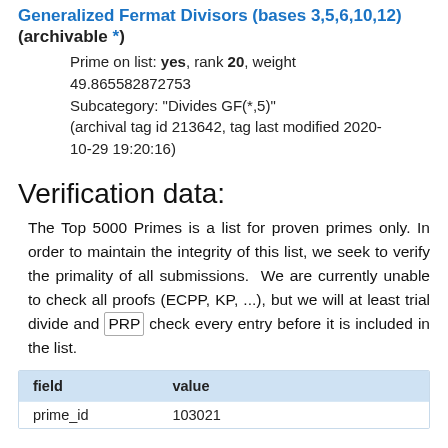Generalized Fermat Divisors (bases 3,5,6,10,12) (archivable *)
Prime on list: yes, rank 20, weight 49.865582872753
Subcategory: "Divides GF(*,5)"
(archival tag id 213642, tag last modified 2020-10-29 19:20:16)
Verification data:
The Top 5000 Primes is a list for proven primes only. In order to maintain the integrity of this list, we seek to verify the primality of all submissions.  We are currently unable to check all proofs (ECPP, KP, ...), but we will at least trial divide and PRP check every entry before it is included in the list.
| field | value |
| --- | --- |
| prime_id | 103021 |